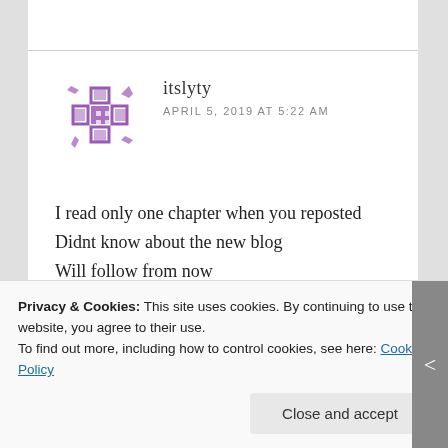itslyty
APRIL 5, 2019 AT 5:22 AM
I read only one chapter when you reposted
Didnt know about the new blog
Will follow from now
Eager to once again join with you
★ Liked by 1 person
Privacy & Cookies: This site uses cookies. By continuing to use this website, you agree to their use.
To find out more, including how to control cookies, see here: Cookie Policy
Close and accept